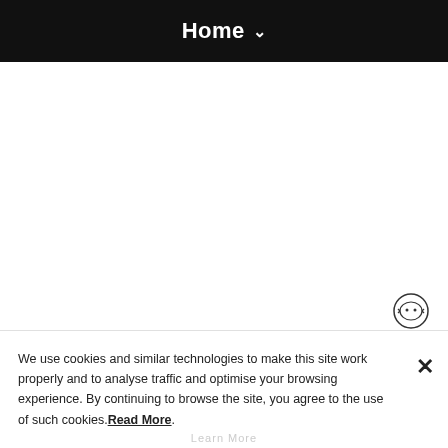Home ∨
[Figure (illustration): White empty content area below navigation bar]
[Figure (illustration): Small pixel-art style chat bubble / face icon in bottom-right area]
We use cookies and similar technologies to make this site work properly and to analyse traffic and optimise your browsing experience. By continuing to browse the site, you agree to the use of such cookies. Read More.